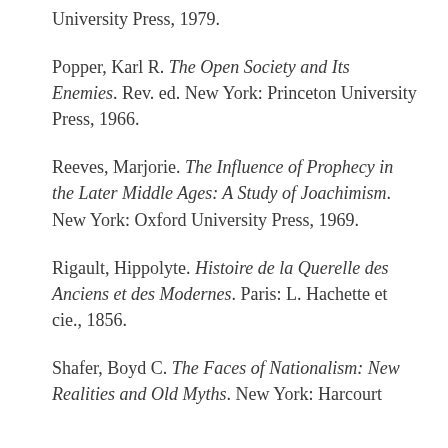University Press, 1979.
Popper, Karl R. The Open Society and Its Enemies. Rev. ed. New York: Princeton University Press, 1966.
Reeves, Marjorie. The Influence of Prophecy in the Later Middle Ages: A Study of Joachimism. New York: Oxford University Press, 1969.
Rigault, Hippolyte. Histoire de la Querelle des Anciens et des Modernes. Paris: L. Hachette et cie., 1856.
Shafer, Boyd C. The Faces of Nationalism: New Realities and Old Myths. New York: Harcourt